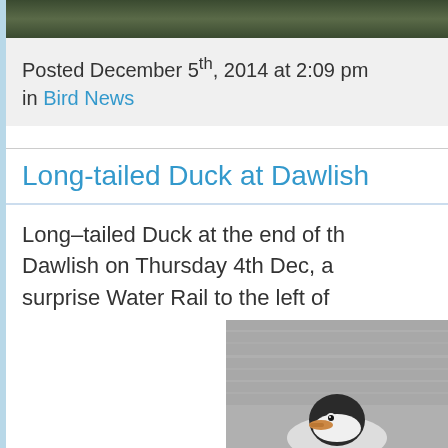[Figure (photo): Top portion of a nature/bird photo showing dark green foliage or water background]
Posted December 5th, 2014 at 2:09 pm in Bird News
Long-tailed Duck at Dawlish
Long–tailed Duck at the end of th… Dawlish on Thursday 4th Dec, a… surprise Water Rail to the left of…
[Figure (photo): Photograph of a Long-tailed Duck swimming on water, showing the bird's head from below with distinctive black and white markings]